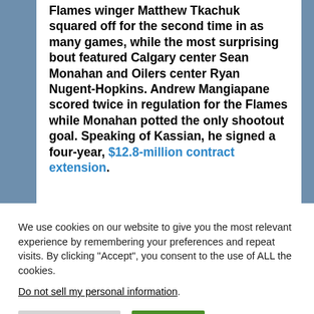Flames winger Matthew Tkachuk squared off for the second time in as many games, while the most surprising bout featured Calgary center Sean Monahan and Oilers center Ryan Nugent-Hopkins. Andrew Mangiapane scored twice in regulation for the Flames while Monahan potted the only shootout goal. Speaking of Kassian, he signed a four-year, $12.8-million contract extension.
We use cookies on our website to give you the most relevant experience by remembering your preferences and repeat visits. By clicking "Accept", you consent to the use of ALL the cookies.
Do not sell my personal information.